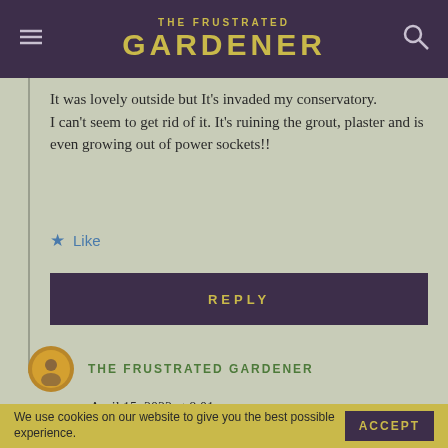THE FRUSTRATED GARDENER
It was lovely outside but It's invaded my conservatory.
I can't seem to get rid of it. It's ruining the grout, plaster and is even growing out of power sockets!!
★ Like
REPLY
THE FRUSTRATED GARDENER
April 15, 2022 at 8:01 am
Oh dear, oh dear! It sounds like ivy leaf
We use cookies on our website to give you the best possible experience.